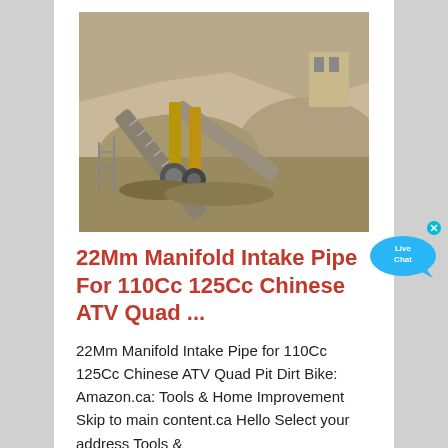[Figure (photo): A mining or quarrying operation showing conveyor belts and industrial machinery with gravel/stone piles in the background.]
22Mm Manifold Intake Pipe For 110Cc 125Cc Chinese ATV Quad ...
22Mm Manifold Intake Pipe for 110Cc 125Cc Chinese ATV Quad Pit Dirt Bike: Amazon.ca: Tools & Home Improvement Skip to main content.ca Hello Select your address Tools &